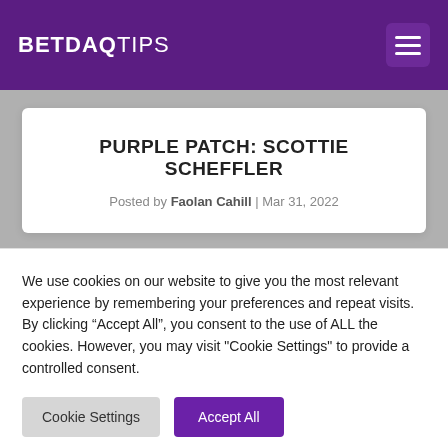BETDAQ TIPS
PURPLE PATCH: SCOTTIE SCHEFFLER
Posted by Faolan Cahill | Mar 31, 2022
We use cookies on our website to give you the most relevant experience by remembering your preferences and repeat visits. By clicking “Accept All”, you consent to the use of ALL the cookies. However, you may visit "Cookie Settings" to provide a controlled consent.
Cookie Settings | Accept All